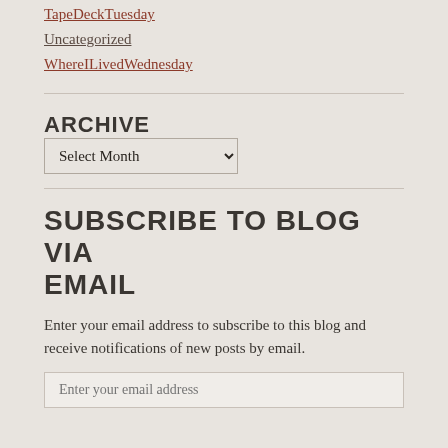TapeDeckTuesday
Uncategorized
WhereILivedWednesday
ARCHIVE
Select Month
SUBSCRIBE TO BLOG VIA EMAIL
Enter your email address to subscribe to this blog and receive notifications of new posts by email.
Enter your email address